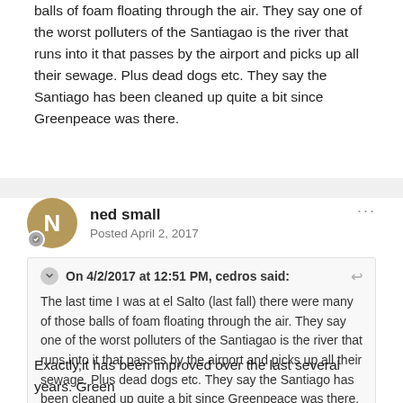balls of foam floating through the air. They say one of the worst polluters of the Santiagao is the river that runs into it that passes by the airport and picks up all their sewage. Plus dead dogs etc. They say the Santiago has been cleaned up quite a bit since Greenpeace was there.
ned small
Posted April 2, 2017
On 4/2/2017 at 12:51 PM, cedros said:
The last time I was at el Salto (last fall) there were many of those balls of foam floating through the air. They say one of the worst polluters of the Santiagao is the river that runs into it that passes by the airport and picks up all their sewage. Plus dead dogs etc. They say the Santiago has been cleaned up quite a bit since Greenpeace was there.
Exactly,it has been improved over the last several years. Green